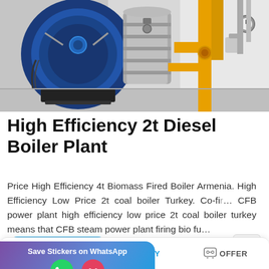[Figure (photo): Industrial boiler room showing large blue cylindrical boiler on the left, silver insulated pipe/vessel in the center, and yellow gas pipes on the right side. Concrete floor, white walls.]
High Efficiency 2t Diesel Boiler Plant
Price High Efficiency 4t Biomass Fired Boiler Armenia. High Efficiency Low Price 2t coal boiler Turkey. Co-fir… CFB power plant high efficiency low price 2t coal boiler turkey means that CFB steam power plant firing bio fu…